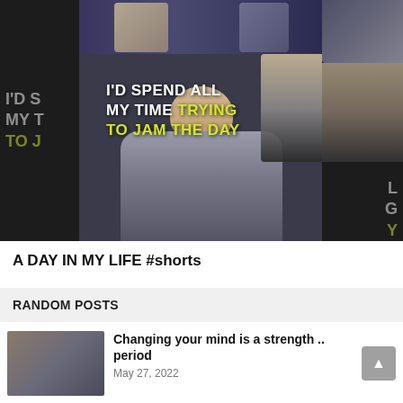[Figure (screenshot): Video thumbnail showing a man in a grey blazer seated, with text overlay reading 'I'D SPEND ALL MY TIME TRYING TO JAM THE DAY' in white and yellow fonts. Background shows blurred audience panels on left and right.]
A DAY IN MY LIFE #shorts
RANDOM POSTS
Changing your mind is a strength .. period
May 27, 2022